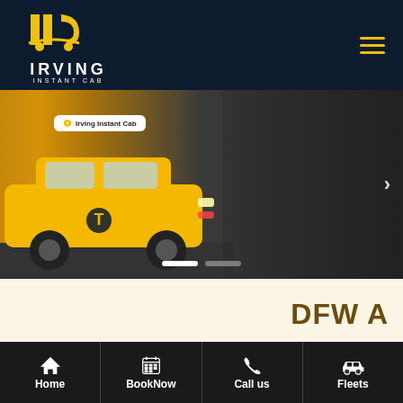[Figure (logo): Irving Instant Cab logo with yellow IIC letters and car graphic on dark navy background]
[Figure (photo): Yellow taxi cab with Irving Instant Cab sign on roof, street scene with pedestrians in background]
DFW A
Reserve Online & SAVE
Home | BookNow | Call us | Fleets